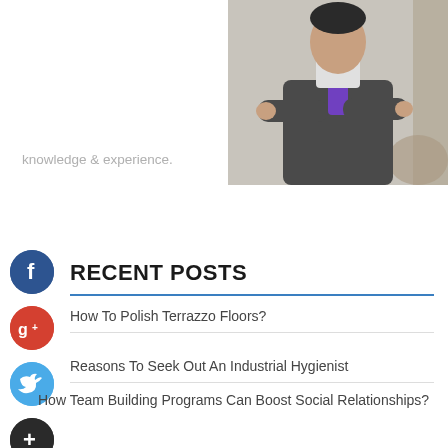[Figure (photo): A man in a dark grey suit with a purple tie, arms crossed, standing near ornate decor.]
knowledge & experience.
[Figure (logo): Facebook icon - dark blue circle with white 'f']
[Figure (logo): Google+ icon - red circle with white 'g+']
[Figure (logo): Twitter icon - blue circle with white bird]
[Figure (logo): Add/Plus icon - dark circle with white '+']
RECENT POSTS
How To Polish Terrazzo Floors?
Reasons To Seek Out An Industrial Hygienist
How Team Building Programs Can Boost Social Relationships?